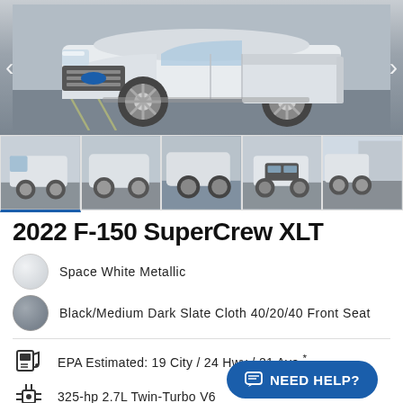[Figure (photo): Main hero photo of a white 2022 Ford F-150 SuperCrew XLT pickup truck in a parking lot, with left and right navigation arrows]
[Figure (photo): Row of 5 thumbnail photos of the same white Ford F-150 truck from various angles; first thumbnail is active with blue underline]
2022 F-150 SuperCrew XLT
Space White Metallic
Black/Medium Dark Slate Cloth 40/20/40 Front Seat
EPA Estimated: 19 City / 24 Hwy / 21 Ave *
325-hp 2.7L Twin-Turbo V6
NEED HELP?